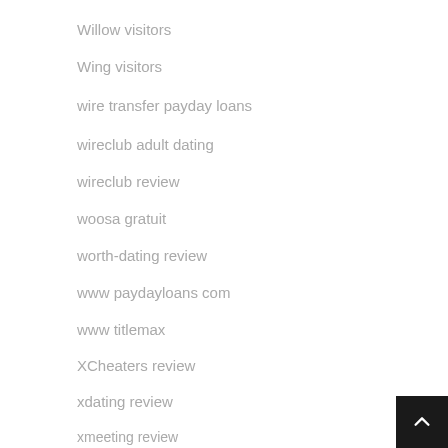Willow visitors
Wing visitors
wire transfer payday loans
wireclub adult dating
wireclub review
woosa gratuit
worth-dating review
www paydayloans com
www titlemax
XCheaters review
xdating review
xmeeting review
Xpress visitors